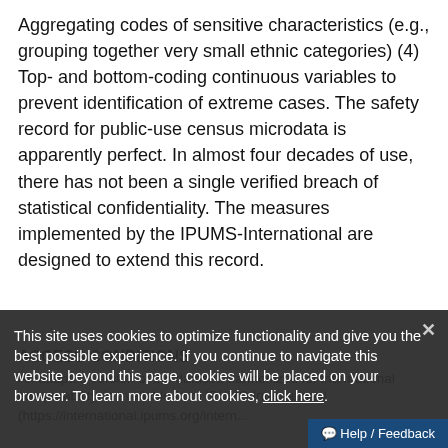Aggregating codes of sensitive characteristics (e.g., grouping together very small ethnic categories) (4) Top- and bottom-coding continuous variables to prevent identification of extreme cases. The safety record for public-use census microdata is apparently perfect. In almost four decades of use, there has not been a single verified breach of statistical confidentiality. The measures implemented by the IPUMS-International are designed to extend this record.
ACCESS CONDITIONS
An adapted version of the dataset, harmonized for international comparability, is available from IPUMS-International
(https://international.ipums.org/intern...
This site uses cookies to optimize functionality and give you the best possible experience. If you continue to navigate this website beyond this page, cookies will be placed on your browser. To learn more about cookies, click here.